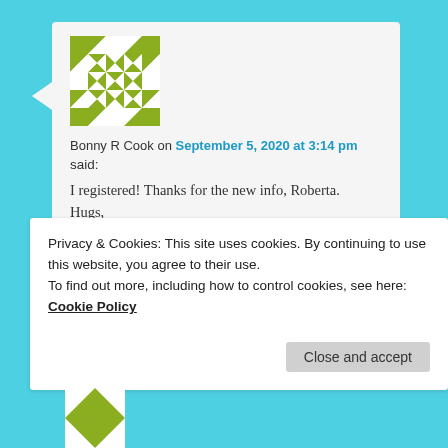[Figure (illustration): Geometric quilt-pattern avatar for Bonny R Cook, green and white squares and triangles pattern]
Bonny R Cook on September 5, 2020 at 3:14 pm
said:
I registered! Thanks for the new info, Roberta. Hugs,
Loading...
Reply ↓
Privacy & Cookies: This site uses cookies. By continuing to use this website, you agree to their use.
To find out more, including how to control cookies, see here: Cookie Policy
Close and accept